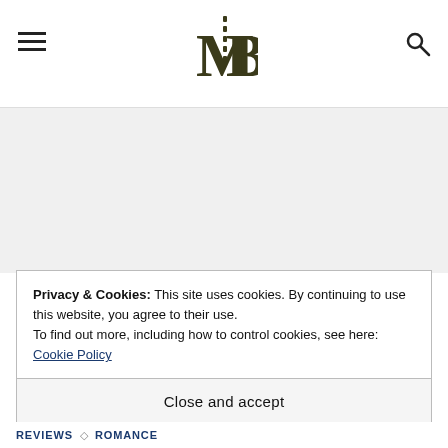MB logo, hamburger menu, search icon
[Figure (logo): MB monogram logo with film strip element, dark olive/black color]
Privacy & Cookies: This site uses cookies. By continuing to use this website, you agree to their use.
To find out more, including how to control cookies, see here: Cookie Policy
Close and accept
REVIEWS ◇ ROMANCE